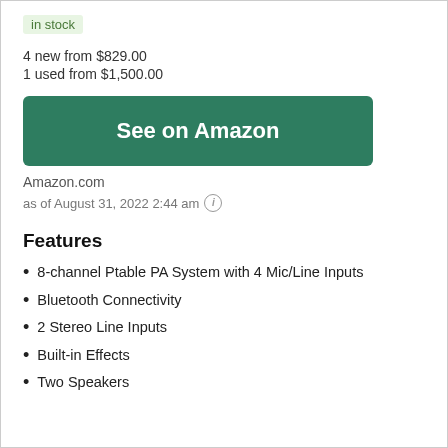in stock
4 new from $829.00
1 used from $1,500.00
See on Amazon
Amazon.com
as of August 31, 2022 2:44 am
Features
8-channel Ptable PA System with 4 Mic/Line Inputs
Bluetooth Connectivity
2 Stereo Line Inputs
Built-in Effects
Two Speakers